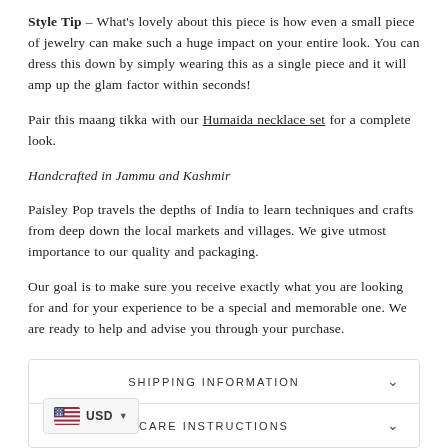Style Tip – What's lovely about this piece is how even a small piece of jewelry can make such a huge impact on your entire look. You can dress this down by simply wearing this as a single piece and it will amp up the glam factor within seconds!
Pair this maang tikka with our Humaida necklace set for a complete look.
Handcrafted in Jammu and Kashmir
Paisley Pop travels the depths of India to learn techniques and crafts from deep down the local markets and villages. We give utmost importance to our quality and packaging.
Our goal is to make sure you receive exactly what you are looking for and for your experience to be a special and memorable one. We are ready to help and advise you through your purchase.
SHIPPING INFORMATION
CARE INSTRUCTIONS